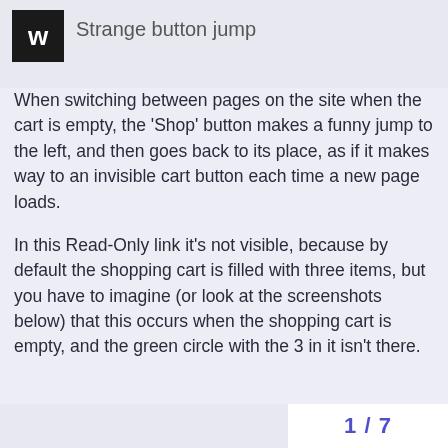Strange button jump
When switching between pages on the site when the cart is empty, the 'Shop' button makes a funny jump to the left, and then goes back to its place, as if it makes way to an invisible cart button each time a new page loads.
In this Read-Only link it's not visible, because by default the shopping cart is filled with three items, but you have to imagine (or look at the screenshots below) that this occurs when the shopping cart is empty, and the green circle with the 3 in it isn't there.
1 / 7